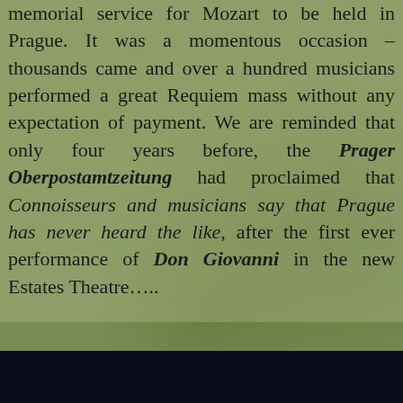memorial service for Mozart to be held in Prague. It was a momentous occasion – thousands came and over a hundred musicians performed a great Requiem mass without any expectation of payment. We are reminded that only four years before, the Prager Oberpostamtzeitung had proclaimed that Connoisseurs and musicians say that Prague has never heard the like, after the first ever performance of Don Giovanni in the new Estates Theatre…..
[Figure (photo): Background photograph of a grassy field or meadow with birds, overlaid with semi-transparent green tones. A dark navy/black bar appears at the bottom of the page.]